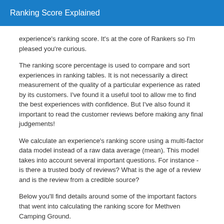Ranking Score Explained
experience's ranking score. It's at the core of Rankers so I'm pleased you're curious.
The ranking score percentage is used to compare and sort experiences in ranking tables. It is not necessarily a direct measurement of the quality of a particular experience as rated by its customers. I've found it a useful tool to allow me to find the best experiences with confidence. But I've also found it important to read the customer reviews before making any final judgements!
We calculate an experience's ranking score using a multi-factor data model instead of a raw data average (mean). This model takes into account several important questions. For instance - is there a trusted body of reviews? What is the age of a review and is the review from a credible source?
Below you'll find details around some of the important factors that went into calculating the ranking score for Methven Camping Ground.
If you have any questions or comments about our ranking score calculation please get in touch at info@rankers.co.nz. We don't believe this is perfect or complete so we're always interested in